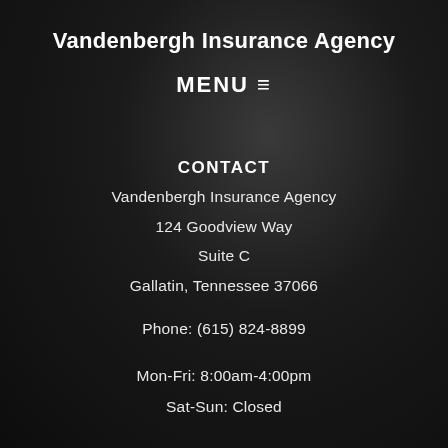Vandenbergh Insurance Agency
MENU ≡
CONTACT
Vandenbergh Insurance Agency
124 Goodview Way
Suite C
Gallatin, Tennessee 37066
Phone: (615) 824-8899
Mon-Fri: 8:00am-4:00pm
Sat-Sun: Closed